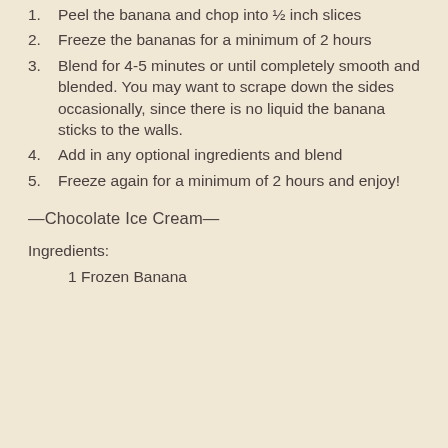1. Peel the banana and chop into ½ inch slices
2. Freeze the bananas for a minimum of 2 hours
3. Blend for 4-5 minutes or until completely smooth and blended. You may want to scrape down the sides occasionally, since there is no liquid the banana sticks to the walls.
4. Add in any optional ingredients and blend
5. Freeze again for a minimum of 2 hours and enjoy!
—Chocolate Ice Cream—
Ingredients:
1 Frozen Banana